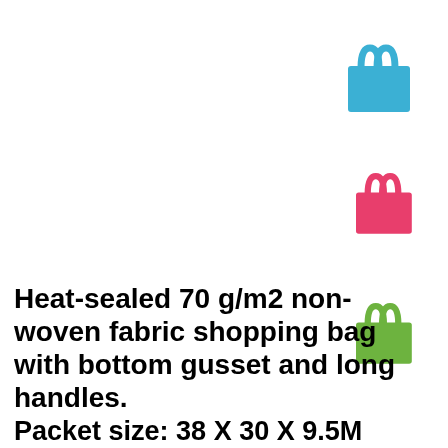[Figure (illustration): Three shopping bag icons arranged vertically on the right side: a blue bag at top, a pink/red bag in the middle, and a green bag at the bottom.]
Heat-sealed 70 g/m2 non-woven fabric shopping bag with bottom gusset and long handles.
Packet size: 38 X 30 X 9.5M